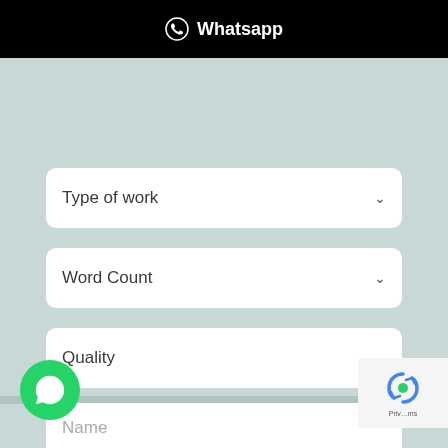Whatsapp
Type of work
Word Count
Quality
Deadline
Name
[Figure (logo): WhatsApp floating action button (green circle with phone handset icon) and reCAPTCHA badge in bottom right corner]